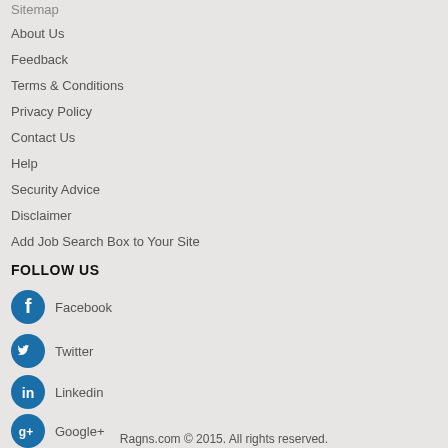Sitemap
About Us
Feedback
Terms & Conditions
Privacy Policy
Contact Us
Help
Security Advice
Disclaimer
Add Job Search Box to Your Site
FOLLOW US
Facebook
Twitter
Linkedin
Google+
Blog
Ragns.com © 2015. All rights reserved.